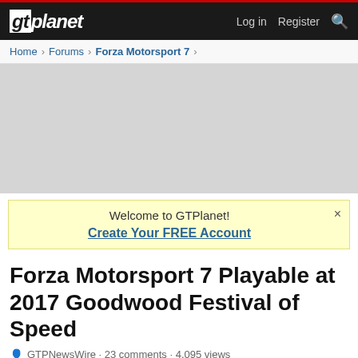gtplanet — Log in  Register  Search
Home > Forums > Forza Motorsport 7 >
[Figure (other): Gray advertisement placeholder area]
Welcome to GTPlanet! Create Your FREE Account ×
Forza Motorsport 7 Playable at 2017 Goodwood Festival of Speed
GTPNewsWire · 23 comments · 4,095 views
GTPNewsWire  Contributing Writer